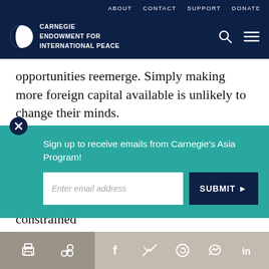ABOUT   CONTACT   SUPPORT   DONATE
[Figure (logo): Carnegie Endowment for International Peace logo with globe icon and navigation icons (search, menu)]
opportunities reemerge. Simply making more foreign capital available is unlikely to change their minds.
[Figure (screenshot): Email signup modal overlay with teal background: 'Sign up to receive emails from Carnegie's Asia Program!' with email input field and SUBMIT button]
however, because U.S. investment was constrained
Social sharing icons: print, link, Facebook, Twitter, WhatsApp, Messenger, LinkedIn